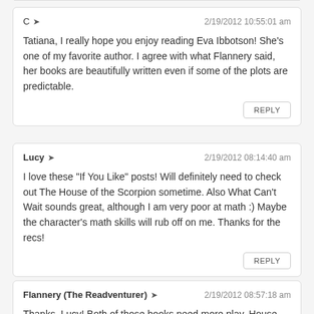C → 2/19/2012 10:55:01 am
Tatiana, I really hope you enjoy reading Eva Ibbotson! She's one of my favorite author. I agree with what Flannery said, her books are beautifully written even if some of the plots are predictable.
Lucy → 2/19/2012 08:14:40 am
I love these "If You Like" posts! Will definitely need to check out The House of the Scorpion sometime. Also What Can't Wait sounds great, although I am very poor at math :) Maybe the character's math skills will rub off on me. Thanks for the recs!
Flannery (The Readventurer) → 2/19/2012 08:57:18 am
Thanks, Lucy! Both of those books need more play. House of the Scorpion...